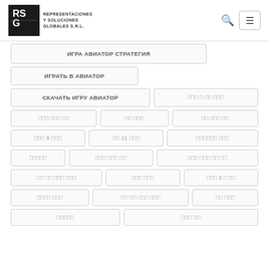RSG - Representaciones y Soluciones Globales S.R.L.
ИГРА АВИАТОР СТРАТЕГИЯ
ИГРАТЬ В АВИАТОР
СКАЧАТЬ ИГРУ АВИАТОР
☐☐☐ ☐ ☐☐ ☐☐☐
☐☐☐ ☐☐☐ ☐☐
☐☐ ☐☐☐
☐☐ ☐☐☐ ☐☐
☐☐☐ 8 ☐☐☐
☐☐ 11 ☐☐☐
☐☐☐☐☐☐ ☐☐☐
☐☐☐☐☐
☐☐☐ ☐☐☐ ☐☐
☐☐☐ ☐☐☐ ☐☐ ☐☐
☐☐ ☐☐ ☐☐☐ ☐☐☐
☐☐☐ ☐☐☐
☐☐☐ 3 ☐ ☐☐
☐☐☐☐ ☐☐☐
☐☐ ☐☐ ☐☐☐ ☐☐☐
☐☐ ☐☐☐